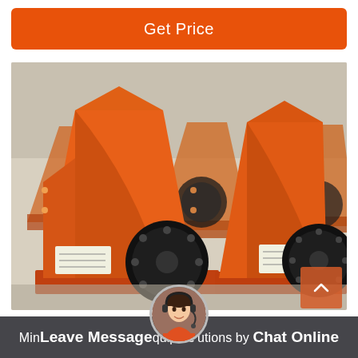Get Price
[Figure (photo): Multiple orange heavy-duty jaw crusher machines lined up in a factory/warehouse setting, showing their flywheel and crushing chamber components]
Mining Equipment Solutions by Chat Online